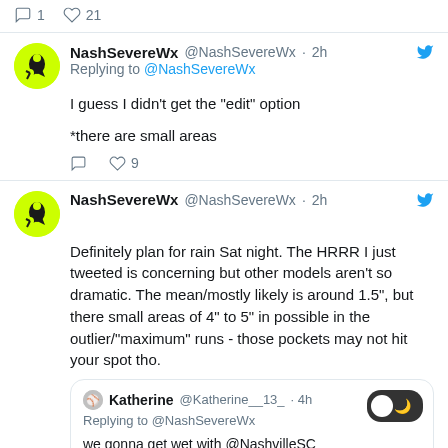1  21
NashSevereWx @NashSevereWx · 2h
Replying to @NashSevereWx
I guess I didn't get the "edit" option

*there are small areas
9
NashSevereWx @NashSevereWx · 2h
Definitely plan for rain Sat night. The HRRR I just tweeted is concerning but other models aren't so dramatic. The mean/mostly likely is around 1.5", but there small areas of 4" to 5" in possible in the outlier/"maximum" runs - those pockets may not hit your spot tho.
Katherine @Katherine__13_ · 4h
Replying to @NashSevereWx
we gonna get wet with @NashvilleSC